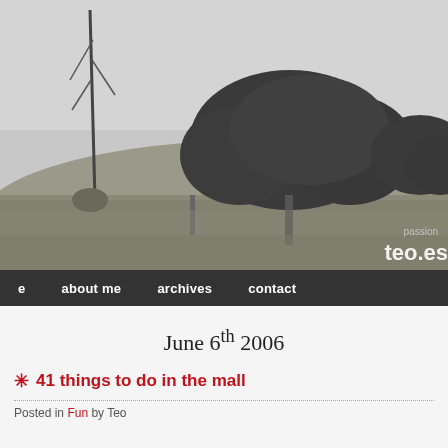[Figure (photo): Black and white landscape photograph showing a tall bare tree/agave on the left, a grassy hillside, and large oak or similar trees in the background under a pale sky. Text watermark in lower right reads 'passion' and 'teo.es']
e   about me   archives   contact
June 6th 2006
✳ 41 things to do in the mall
Posted in Fun by Teo